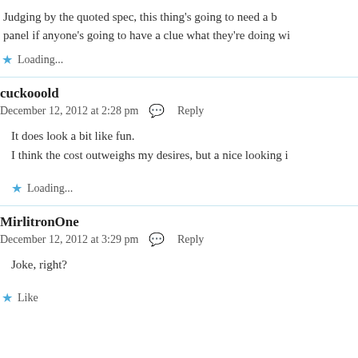Judging by the quoted spec, this thing's going to need a b… panel if anyone's going to have a clue what they're doing wi…
★ Loading...
cuckooold
December 12, 2012 at 2:28 pm  💬 Reply
It does look a bit like fun.
I think the cost outweighs my desires, but a nice looking i…
★ Loading...
MirlitronOne
December 12, 2012 at 3:29 pm  💬 Reply
Joke, right?
★ Like